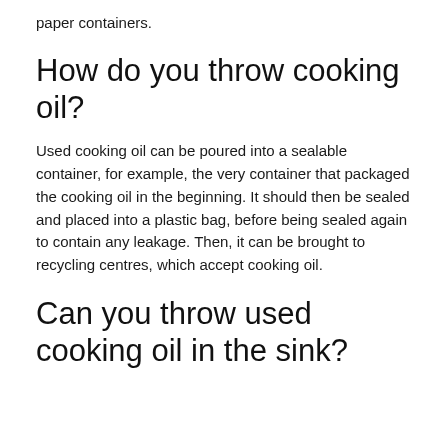paper containers.
How do you throw cooking oil?
Used cooking oil can be poured into a sealable container, for example, the very container that packaged the cooking oil in the beginning. It should then be sealed and placed into a plastic bag, before being sealed again to contain any leakage. Then, it can be brought to recycling centres, which accept cooking oil.
Can you throw used cooking oil in the sink?